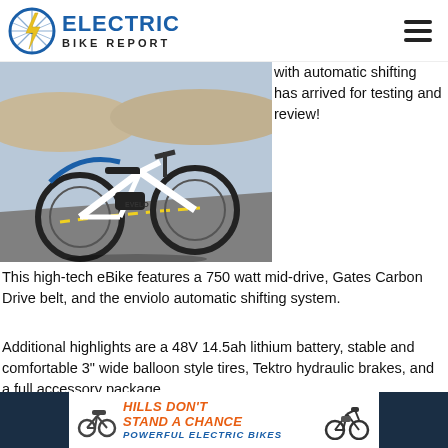ELECTRIC BIKE REPORT
[Figure (photo): White electric bicycle (Evelo brand) with fat tires parked on a road with desert landscape in the background]
with automatic shifting has arrived for testing and review!
This high-tech eBike features a 750 watt mid-drive, Gates Carbon Drive belt, and the enviolo automatic shifting system.
Additional highlights are a 48V 14.5ah lithium battery, stable and comfortable 3" wide balloon style tires, Tektro hydraulic brakes, and a full accessory package.
[Figure (infographic): Advertisement banner: HILLS DON'T STAND A CHANCE - POWERFUL ELECTRIC BIKES, with bicycle icons]